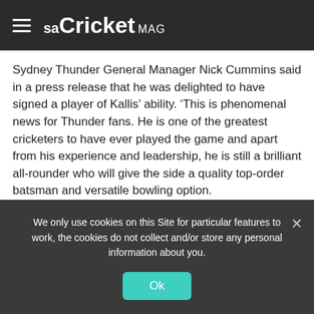saCricket MAG
Sydney Thunder General Manager Nick Cummins said in a press release that he was delighted to have signed a player of Kallis’ ability. ‘This is phenomenal news for Thunder fans. He is one of the greatest cricketers to have ever played the game and apart from his experience and leadership, he is still a brilliant all-rounder who will give the side a quality top-order batsman and versatile bowling option.
‘Just having a player of his stature around the group will be great for our young players and he will bring big match temperament and a winning attitude to our squad.’
We only use cookies on this Site for particular features to work, the cookies do not collect and/or store any personal information about you.